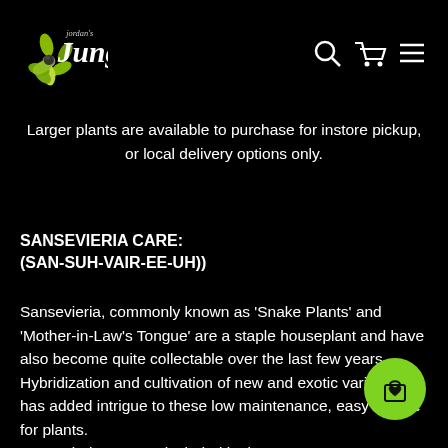[Figure (logo): Jordan's Jungle logo with green flower/leaf icon and stylized white cursive text]
[Figure (other): Navigation icons: search, shopping cart, hamburger menu]
Larger plants are available to purchase for instore pickup, or local delivery options only.
SANSEVIERIA CARE:
(SAN-SUH-VAIR-EE-UH))
Sansevieria, commonly known as 'Snake Plants' and 'Mother-in-Law's Tongue' are a staple houseplant and have also become quite collectable over the last few years.  Hybridization and cultivation of new and exotic varieties has added intrigue to these low maintenance, easy to care for plants.
Sansevieria are now included in the genus Dracena.
NASA has ranked Sansevieria high on their list of